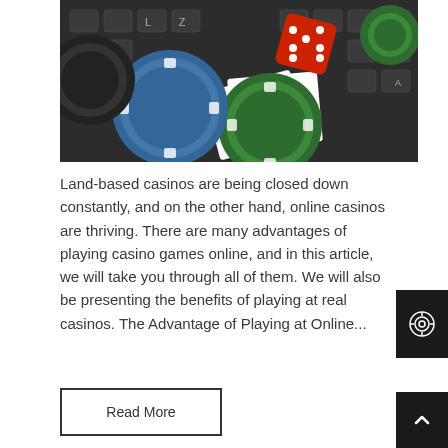[Figure (photo): Casino chips (blue, green, black), a red dice, playing cards (aces of diamonds), all resting on a dark laptop keyboard]
Land-based casinos are being closed down constantly, and on the other hand, online casinos are thriving. There are many advantages of playing casino games online, and in this article, we will take you through all of them. We will also be presenting the benefits of playing at real casinos. The Advantage of Playing at Online...
Read More